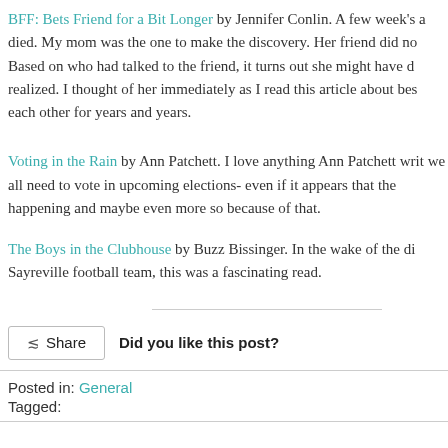BFF: Bets Friend for a Bit Longer by Jennifer Conlin. A few week's a... died. My mom was the one to make the discovery. Her friend did no... Based on who had talked to the friend, it turns out she might have d... realized. I thought of her immediately as I read this article about bes... each other for years and years.
Voting in the Rain by Ann Patchett. I love anything Ann Patchett writ... we all need to vote in upcoming elections- even if it appears that the... happening and maybe even more so because of that.
The Boys in the Clubhouse by Buzz Bissinger. In the wake of the di... Sayreville football team, this was a fascinating read.
Did you like this post?
Posted in: General
Tagged: